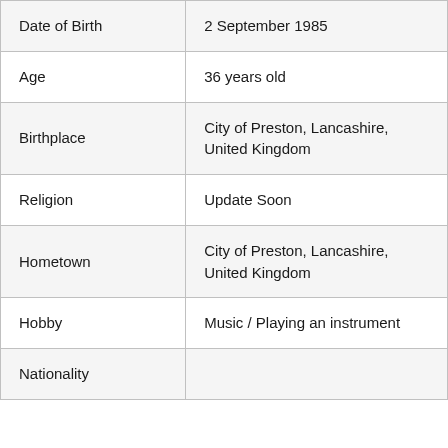| Field | Value |
| --- | --- |
| Date of Birth | 2 September 1985 |
| Age | 36 years old |
| Birthplace | City of Preston, Lancashire, United Kingdom |
| Religion | Update Soon |
| Hometown | City of Preston, Lancashire, United Kingdom |
| Hobby | Music / Playing an instrument |
| Nationality |  |